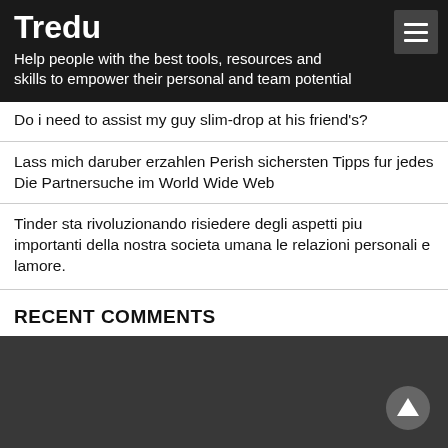Tredu
Help people with the best tools, resources and skills to empower their personal and team potential
Do i need to assist my guy slim-drop at his friend's?
Lass mich daruber erzahlen Perish sichersten Tipps fur jedes Die Partnersuche im World Wide Web
Tinder sta rivoluzionando risiedere degli aspetti piu importanti della nostra societa umana le relazioni personali e lamore.
RECENT COMMENTS
Nessun commento da mostrare.